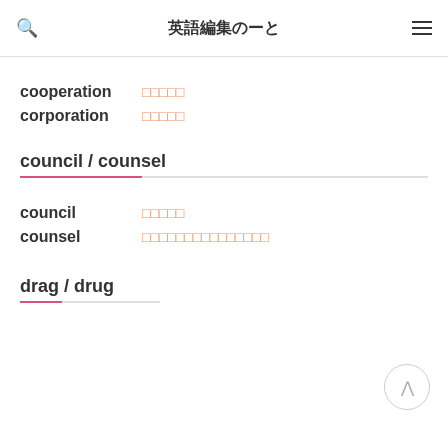英語編集のーと
cooperation　□□□□□
corporation　□□□□□
council / counsel
council　□□□□□
counsel　□□□□□□□□□□□□□□□
drag / drug